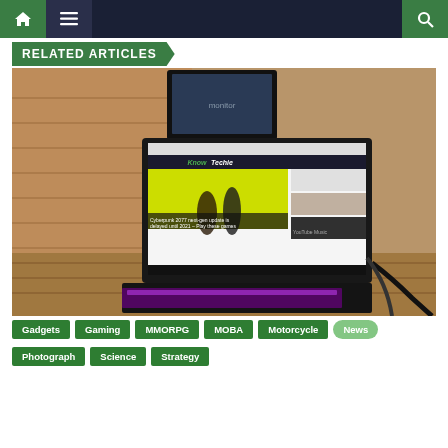Navigation bar with home, menu, and search icons
RELATED ARTICLES
[Figure (photo): A laptop computer outdoors on a wooden table displaying the KnowTechie website with a Cyberpunk 2077 article and a purple keyboard visible, with a second monitor mounted above the screen.]
Gadgets
Gaming
MMORPG
MOBA
Motorcycle
News
Photograph
Science
Strategy